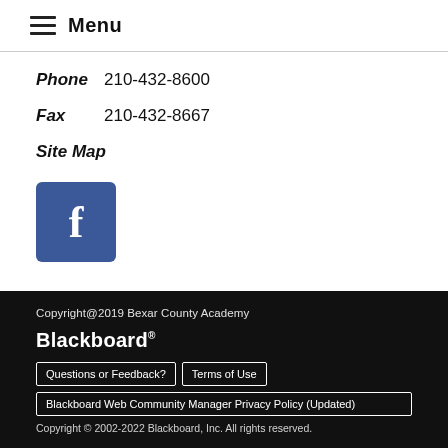Menu
Phone  210-432-8600
Fax  210-432-8667
Site Map
[Figure (logo): Facebook social media icon — blue square with white lowercase f]
Copyright@2019 Bexar County Academy
Blackboard®
Questions or Feedback?  Terms of Use
Blackboard Web Community Manager Privacy Policy (Updated)
Copyright © 2002-2022 Blackboard, Inc. All rights reserved.